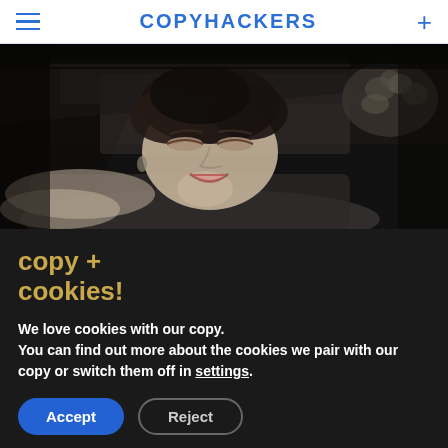COPYHACKERS
[Figure (photo): Black and white photo of a woman with curly hair, eyes closed, smiling, reclining in what appears to be a vintage film scene. A flower arrangement is visible in the upper right corner.]
copy + cookies!
We love cookies with our copy. You can find out more about the cookies we pair with our copy or switch them off in settings.